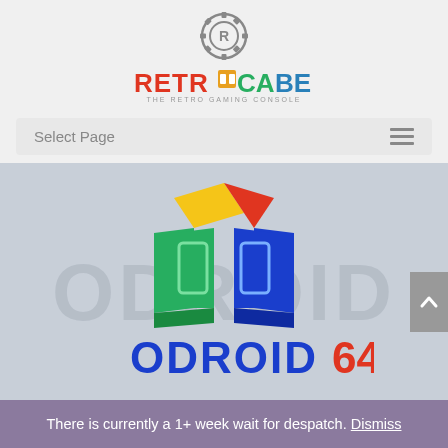[Figure (logo): RetroCabe logo — circular gear icon above colorful RETROCABE wordmark and tagline THE RETRO GAMING CONSOLE]
Select Page
[Figure (logo): ODROID64 logo — colorful 3D cube icon in green, blue, red, yellow above bold blue and red ODROID64 text, on a light gray banner background]
There is currently a 1+ week wait for despatch. Dismiss